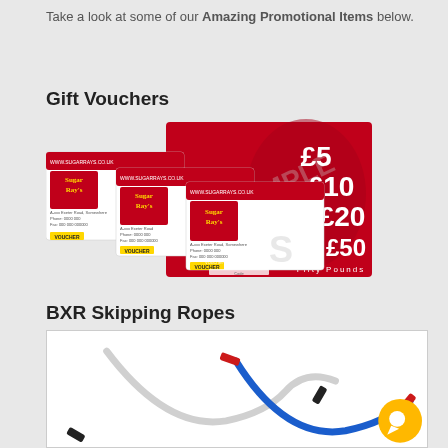Take a look at some of our Amazing Promotional Items below.
Gift Vouchers
[Figure (photo): Four Sugar Ray's gift vouchers fanned out showing denominations: £5, £10, £20, £50 (Fifty Pounds). Red background with boxers silhouette and SAMPLE watermark.]
BXR Skipping Ropes
[Figure (photo): Two BXR skipping ropes on white background: one white/black rope on the left, one blue/red rope on the right, with a yellow chat bubble icon in the bottom-right corner.]